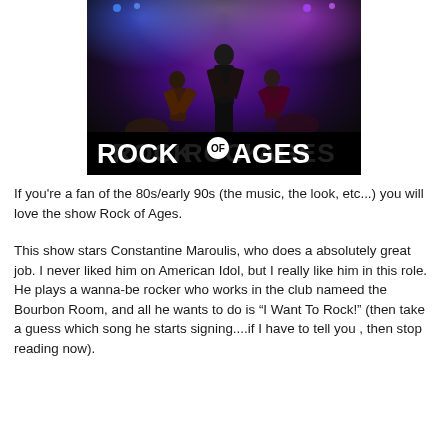[Figure (photo): Promotional photo for the musical Rock of Ages showing performers on stage with purple/blue stage lighting. Bold 'ROCK OF AGES' text displayed at the bottom of the image.]
If you're a fan of the 80s/early 90s (the music, the look, etc...) you will love the show Rock of Ages.
This show stars Constantine Maroulis, who does a absolutely great job. I never liked him on American Idol, but I really like him in this role. He plays a wanna-be rocker who works in the club nameed the Bourbon Room, and all he wants to do is “I Want To Rock!” (then take a guess which song he starts signing....if I have to tell you , then stop reading now).